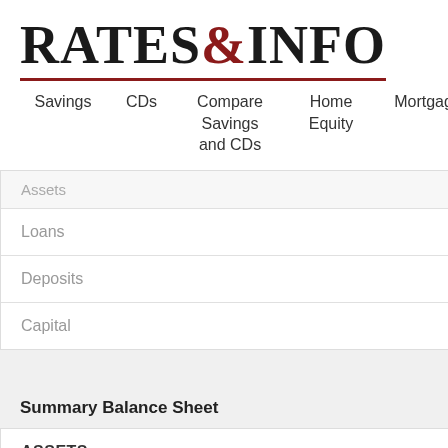RATES&INFO
Savings | CDs | Compare Savings and CDs | Home Equity | Mortgages | Loan
| Assets | Loans | Deposits | Capital |
| --- | --- | --- | --- |
Summary Balance Sheet
| ASSETS |
| --- |
| Cash & Balances due from depository institutions |